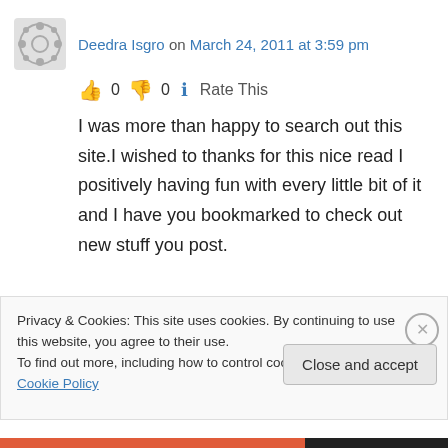Deedra Isgro on March 24, 2011 at 3:59 pm
👍 0 👎 0 ℹ Rate This
I was more than happy to search out this site.I wished to thanks for this nice read I positively having fun with every little bit of it and I have you bookmarked to check out new stuff you post.
↳ Reply
Privacy & Cookies: This site uses cookies. By continuing to use this website, you agree to their use.
To find out more, including how to control cookies, see here: Cookie Policy
Close and accept